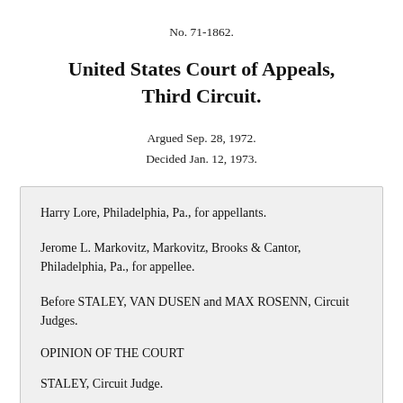No. 71-1862.
United States Court of Appeals, Third Circuit.
Argued Sep. 28, 1972.
Decided Jan. 12, 1973.
Harry Lore, Philadelphia, Pa., for appellants.
Jerome L. Markovitz, Markovitz, Brooks & Cantor, Philadelphia, Pa., for appellee.
Before STALEY, VAN DUSEN and MAX ROSENN, Circuit Judges.
OPINION OF THE COURT
STALEY, Circuit Judge.